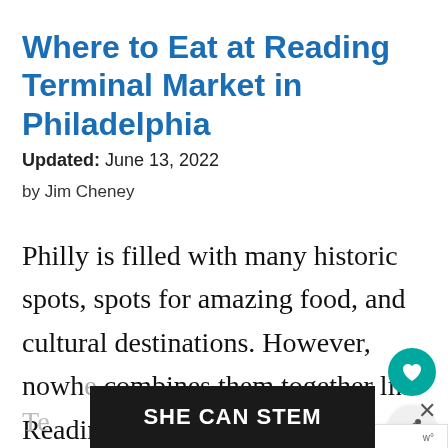Where to Eat at Reading Terminal Market in Philadelphia
Updated: June 13, 2022
by Jim Cheney
Philly is filled with many historic spots, spots for amazing food, and cultural destinations. However, nowhere combines them together like Reading Te[rminal Market...]
[Figure (other): Advertisement banner reading SHE CAN STEM with dark background, overlaid on bottom portion of the page along with a close (X) button and a W logo.]